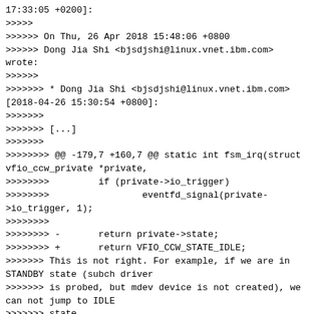17:33:05 +0200]:
>>>>>
>>>>>> On Thu, 26 Apr 2018 15:48:06 +0800
>>>>>> Dong Jia Shi <bjsdjshi@linux.vnet.ibm.com>
wrote:
>>>>>>
>>>>>>> * Dong Jia Shi <bjsdjshi@linux.vnet.ibm.com>
[2018-04-26 15:30:54 +0800]:
>>>>>>>
>>>>>>> [...]
>>>>>>>
>>>>>>>> @@ -179,7 +160,7 @@ static int fsm_irq(struct
vfio_ccw_private *private,
>>>>>>>>         if (private->io_trigger)
>>>>>>>>                 eventfd_signal(private->io_trigger, 1);
>>>>>>>>
>>>>>>>> -       return private->state;
>>>>>>>> +       return VFIO_CCW_STATE_IDLE;
>>>>>>> This is not right. For example, if we are in
STANDBY state (subch driver
>>>>>>> is probed, but mdev device is not created), we
can not jump to IDLE
>>>>>>> state.
>>>>>> I see my problem, for STANDBY state, we should
introduce another event
>>>>>> callback for VFIO_CCW_EVENT_INTERRUPT. It
doesn't make sense to call
>>>>>> fsm_irq() which tries to signal userspace with
interrupt notification